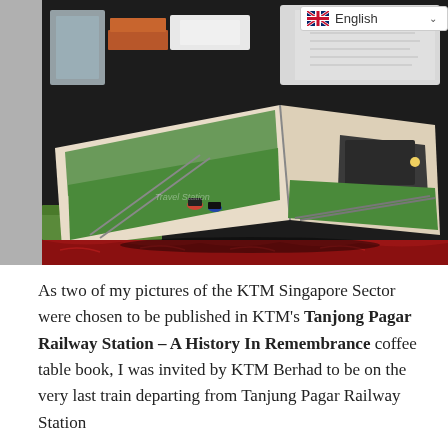[Figure (photo): A photograph of an open photo book laid on a table covered with a red cloth. The book shows railway/train photographs. In the background are display items, books, and merchandise including a white t-shirt. A language selector showing the UK flag and 'English' with a dropdown chevron is overlaid in the top-right corner.]
As two of my pictures of the KTM Singapore Sector were chosen to be published in KTM's Tanjong Pagar Railway Station – A History In Remembrance coffee table book, I was invited by KTM Berhad to be on the very last train departing from Tanjung Pagar Railway Station